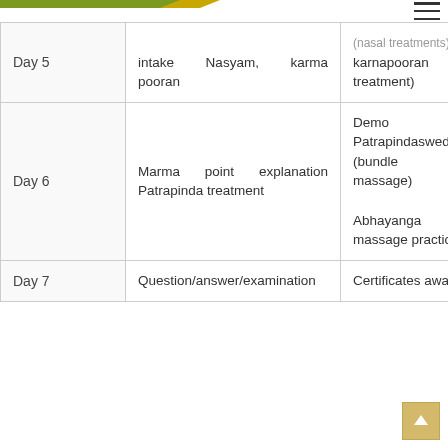| Day | Topics | Practice/Demo |
| --- | --- | --- |
| Day 5 | intake  Nasyam,  karma pooran | (nasal treatments), karnapooran (ear treatment) |
| Day 6 | Marma point explanation Patrapinda treatment | Demo - Patrapindaswedana (bundle heat massage)
Abhayanga (ayurvedic massage practice) |
| Day 7 | Question/answer/examination | Certificates award |